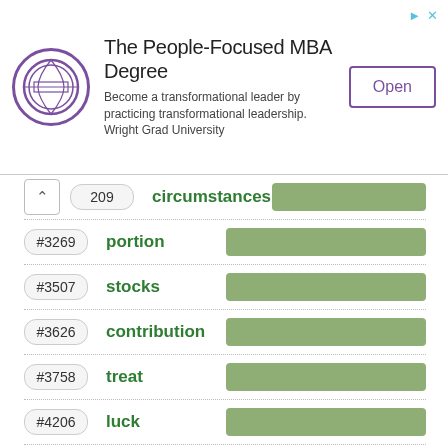[Figure (other): Advertisement banner for Wright Grad University MBA Degree with logo, title 'The People-Focused MBA Degree', description text, and Open button]
#209 circumstances
#3269 portion
#3507 stocks
#3626 contribution
#3758 treat
#4206 luck
#4520 packet
#4523 involvement